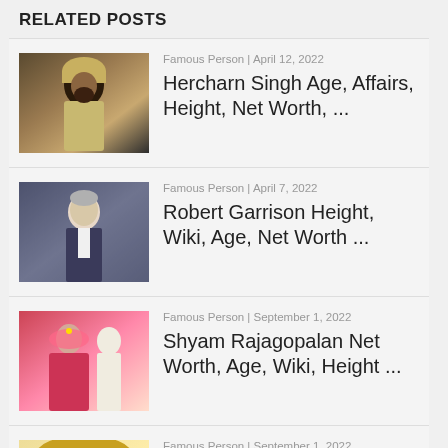RELATED POSTS
Famous Person | April 12, 2022 — Hercharn Singh Age, Affairs, Height, Net Worth, ...
Famous Person | April 7, 2022 — Robert Garrison Height, Wiki, Age, Net Worth ...
Famous Person | September 1, 2022 — Shyam Rajagopalan Net Worth, Age, Wiki, Height ...
Famous Person | September 1, 2022